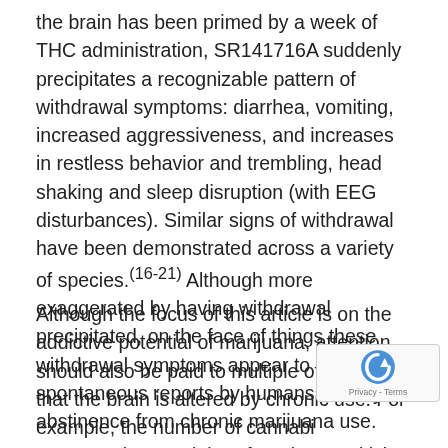the brain has been primed by a week of THC administration, SR141716A suddenly precipitates a recognizable pattern of withdrawal symptoms: diarrhea, vomiting, increased aggressiveness, and increases in restless behavior and trembling, head shaking and sleep disruption (with EEG disturbances). Similar signs of withdrawal have been demonstrated across a variety of species.(16-21) Although more exaggerated by having withdrawal precipitated, on the face of things these withdrawal symptoms appear to resemble spontaneous reports by humans in early abstinence from chronic marijuana use.
Although the focus of this article is on the addictive potential of marijuana, attention should also be paid to multiple other ways that the brain is altered by chronic use. For example, the number of cannabinoid receptor sites, and therefore the sensitivity of the brain to its own endocannabinoid chemistry, is